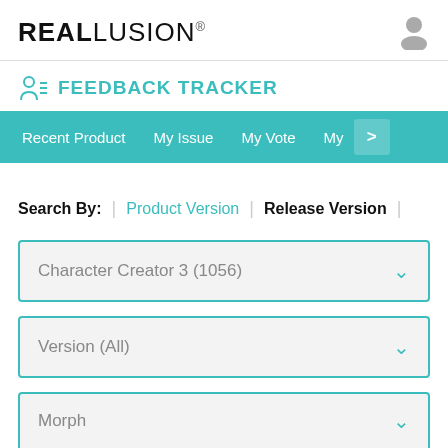REALLUSION®
FEEDBACK TRACKER
Recent Product | My Issue | My Vote | My >
Search By: | Product Version | Release Version
Character Creator 3 (1056)
Version (All)
Morph